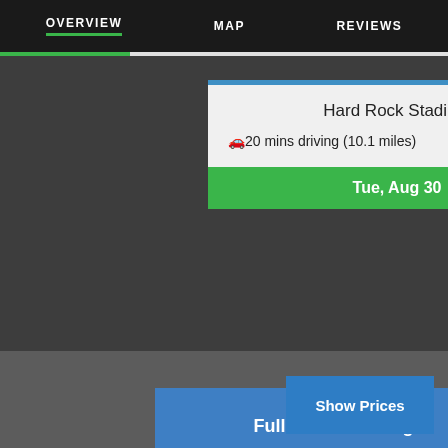OVERVIEW   MAP   REVIEWS
Hard Rock Stadium
🚗20 mins driving (10.1 miles)
Tue, Aug 30
Full Events Listing...
Show Prices